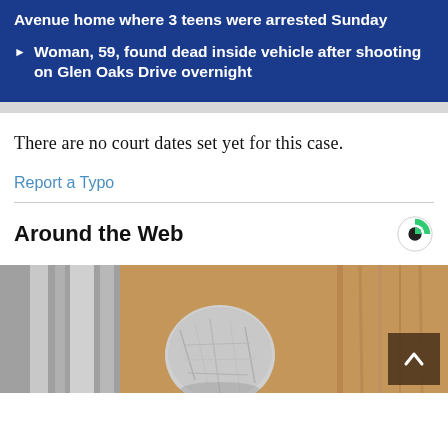Avenue home where 3 teens were arrested Sunday
Woman, 59, found dead inside vehicle after shooting on Glen Oaks Drive overnight
There are no court dates set yet for this case.
Report a Typo
Around the Web
[Figure (photo): Photo showing a door knob wrapped in aluminum foil, with a scroll-up button overlay in the bottom right corner.]